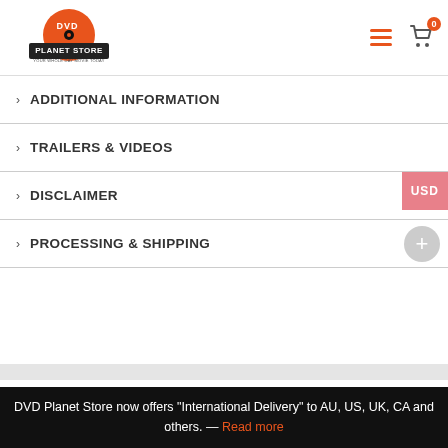DVD Planet Store — logo, hamburger menu, cart (0)
ADDITIONAL INFORMATION
TRAILERS & VIDEOS
DISCLAIMER
PROCESSING & SHIPPING
DVD Planet Store now offers "International Delivery" to AU, US, UK, CA and others. — Read more